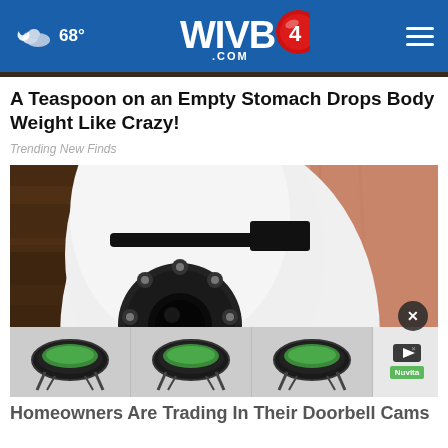68° WIVB4.COM
A Teaspoon on an Empty Stomach Drops Body Weight Like Crazy!
Trending New Finds
[Figure (photo): Close-up photo of a white dome-shaped security camera with a wide-angle lens surrounded by LED lights, held by a hand with a wooden background]
[Figure (infographic): Advertisement strip showing three trampoline product images with a sponsored badge]
Homeowners Are Trading In Their Doorbell Cams